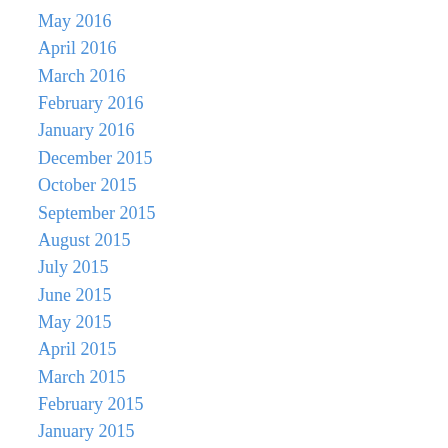May 2016
April 2016
March 2016
February 2016
January 2016
December 2015
October 2015
September 2015
August 2015
July 2015
June 2015
May 2015
April 2015
March 2015
February 2015
January 2015
December 2014
November 2014
October 2014
September 2014